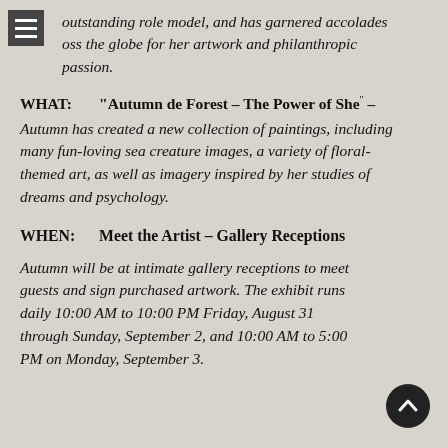outstanding role model, and has garnered accolades across the globe for her artwork and philanthropic passion.
WHAT: "Autumn de Forest – The Power of She" – Autumn has created a new collection of paintings, including many fun-loving sea creature images, a variety of floral-themed art, as well as imagery inspired by her studies of dreams and psychology.
WHEN: Meet the Artist – Gallery Receptions
Autumn will be at intimate gallery receptions to meet guests and sign purchased artwork. The exhibit runs daily 10:00 AM to 10:00 PM Friday, August 31 through Sunday, September 2, and 10:00 AM to 5:00 PM on Monday, September 3.